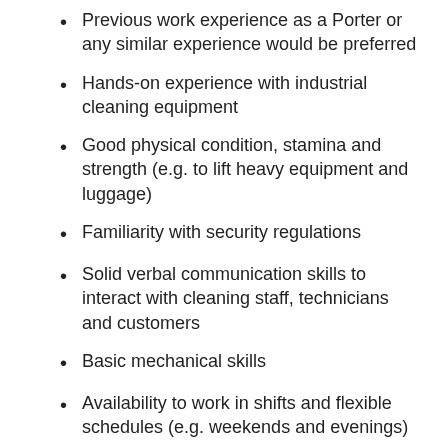Previous work experience as a Porter or any similar experience would be preferred
Hands-on experience with industrial cleaning equipment
Good physical condition, stamina and strength (e.g. to lift heavy equipment and luggage)
Familiarity with security regulations
Solid verbal communication skills to interact with cleaning staff, technicians and customers
Basic mechanical skills
Availability to work in shifts and flexible schedules (e.g. weekends and evenings)